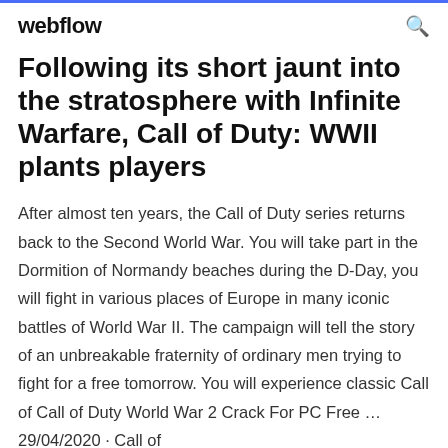webflow
Following its short jaunt into the stratosphere with Infinite Warfare, Call of Duty: WWII plants players
After almost ten years, the Call of Duty series returns back to the Second World War. You will take part in the Dormition of Normandy beaches during the D-Day, you will fight in various places of Europe in many iconic battles of World War II. The campaign will tell the story of an unbreakable fraternity of ordinary men trying to fight for a free tomorrow. You will experience classic Call of Call of Duty World War 2 Crack For PC Free … 29/04/2020 · Call of